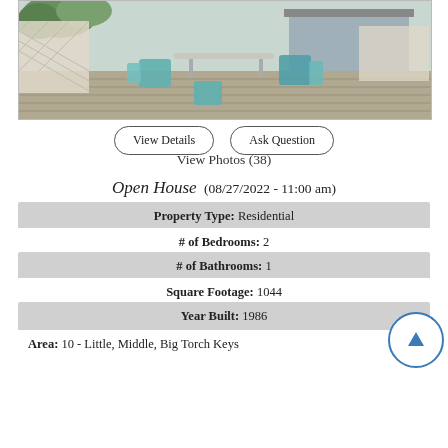[Figure (photo): Outdoor deck with white lattice fence, teal patio chairs, and a glass-top table overlooking a coastal area]
View Details   Ask Question
View Photos (38)
Open House  (08/27/2022 - 11:00 am)
Property Type: Residential
# of Bedrooms: 2
# of Bathrooms: 1
Square Footage: 1044
Year Built: 1986
Area: 10 - Little, Middle, Big Torch Keys